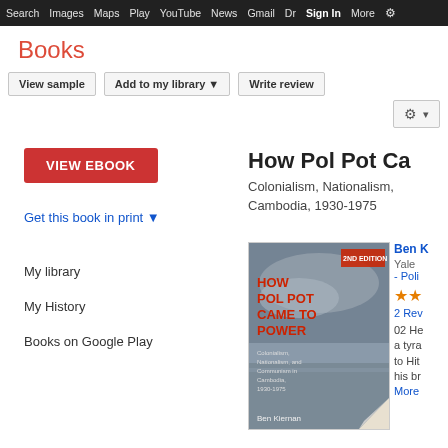Search  Images  Maps  Play  YouTube  News  Gmail  Dr  Sign In  More  ⚙
Books
View sample  Add to my library ▼  Write review
VIEW EBOOK
How Pol Pot Ca...
Colonialism, Nationalism, Cambodia, 1930-1975
Get this book in print ▼
My library
My History
Books on Google Play
[Figure (photo): Book cover of 'How Pol Pot Came to Power: Colonialism, Nationalism, and Communism in Cambodia, 1930-1975' by Ben Kiernan]
Ben K...
Yale...
- Poli...
★★...
2 Re...
02 He... a tyra... to Hit... his br...
More...